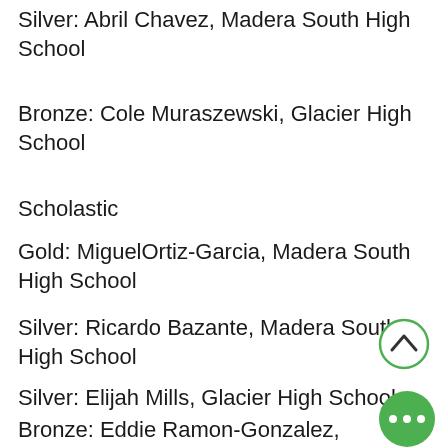Silver: Abril Chavez, Madera South High School
Bronze: Cole Muraszewski, Glacier High School
Scholastic
Gold: MiguelOrtiz-Garcia, Madera South High School
Silver: Ricardo Bazante, Madera South High School
Silver: Elijah Mills, Glacier High School
Bronze: Eddie Ramon-Gonzalez, Madera South High School